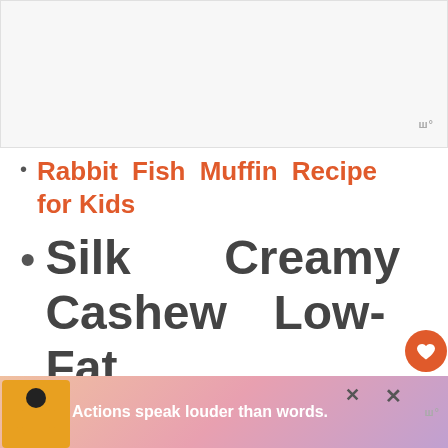[Figure (photo): Light gray placeholder image area at the top of the page with a small watermark logo in the bottom right corner]
Rabbit Fish Muffin Recipe for Kids
Silk Creamy Cashew Low-Fat Pumpkin Muffins Dairy Free Recipe for Kids
[Figure (infographic): Bottom advertisement banner with a person figure, text 'Actions speak louder than words.' on a colorful gradient background, with close and share icons]